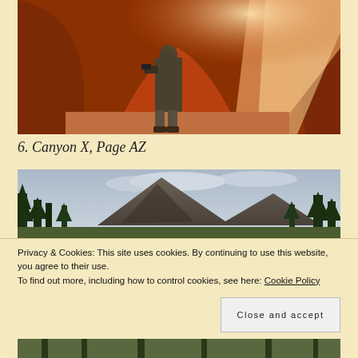[Figure (photo): Photographer standing inside a slot canyon with deep orange-red sandstone walls and a beam of light from above, Canyon X, Page AZ]
6. Canyon X, Page  AZ
[Figure (photo): Mountain landscape with pine and conifer trees in the foreground and a large rocky peak in the background under cloudy skies]
Privacy & Cookies: This site uses cookies. By continuing to use this website, you agree to their use.
To find out more, including how to control cookies, see here: Cookie Policy
Close and accept
[Figure (photo): Forest scene with trees, partially visible at bottom of page]